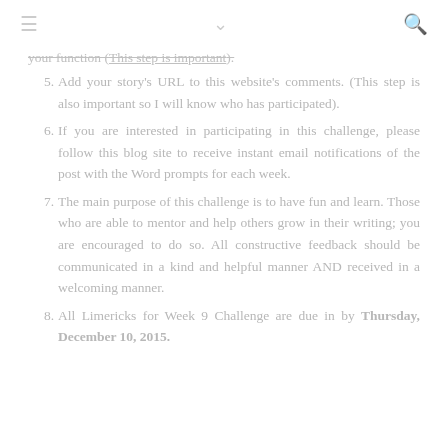≡  ∨  🔍
your function (This step is important).
5. Add your story's URL to this website's comments. (This step is also important so I will know who has participated).
6. If you are interested in participating in this challenge, please follow this blog site to receive instant email notifications of the post with the Word prompts for each week.
7. The main purpose of this challenge is to have fun and learn. Those who are able to mentor and help others grow in their writing; you are encouraged to do so. All constructive feedback should be communicated in a kind and helpful manner AND received in a welcoming manner.
8. All Limericks for Week 9 Challenge are due in by Thursday, December 10, 2015.